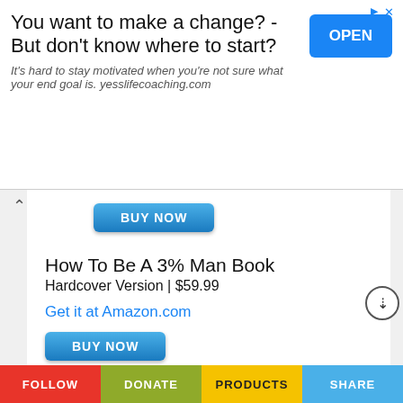[Figure (screenshot): Advertisement banner: 'You want to make a change? - But don't know where to start?' with OPEN button, yesslifecoaching.com]
BUY NOW (button, top)
How To Be A 3% Man Book
Hardcover Version | $59.99
Get it at Amazon.com
BUY NOW (button, mid)
[Figure (logo): Lulu logo in dark navy script]
How To Be A 3% Man Book
Paperback Version | $29.99
Get it at Lulu.com
BUY NOW (button, bottom, partially visible)
FOLLOW | DONATE | PRODUCTS | SHARE